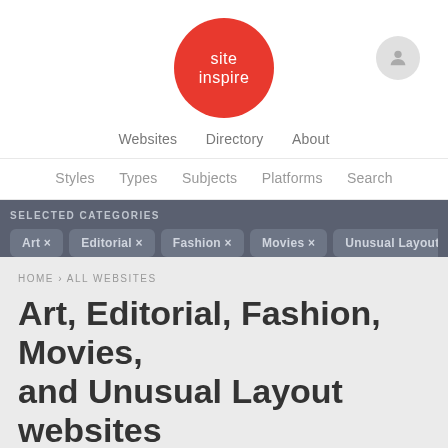[Figure (logo): SiteInspire logo: red circle with white text 'site inspire']
Websites   Directory   About
Styles   Types   Subjects   Platforms   Search
SELECTED CATEGORIES
Art ×
Editorial ×
Fashion ×
Movies ×
Unusual Layout ×
HOME › ALL WEBSITES
Art, Editorial, Fashion, Movies, and Unusual Layout websites
Submit a Website